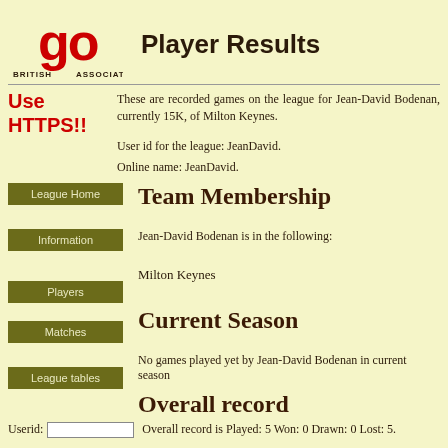[Figure (logo): British Go Association logo with stylized GO text in red]
Player Results
These are recorded games on the league for Jean-David Bodenan, currently 15K, of Milton Keynes.
Use HTTPS!!
User id for the league: JeanDavid.
Online name: JeanDavid.
Team Membership
Jean-David Bodenan is in the following:
Milton Keynes
Current Season
No games played yet by Jean-David Bodenan in current season
Overall record
Userid:   Overall record is Played: 5 Won: 0 Drawn: 0 Lost: 5.